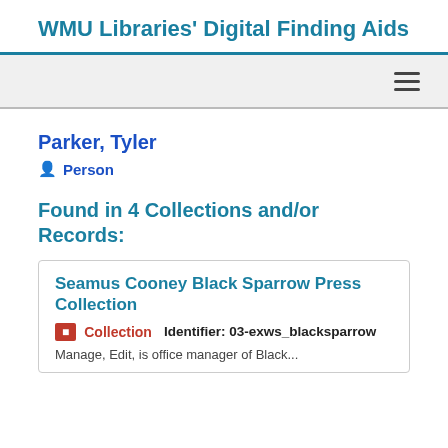WMU Libraries' Digital Finding Aids
Parker, Tyler
Person
Found in 4 Collections and/or Records:
Seamus Cooney Black Sparrow Press Collection
Collection  Identifier: 03-exws_blacksparrow